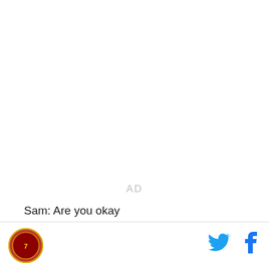AD
Sam: Are you okay
Armin: We...won.
[Figure (logo): Red circular logo with gold border in footer]
[Figure (other): Twitter and Facebook social media icons in footer]